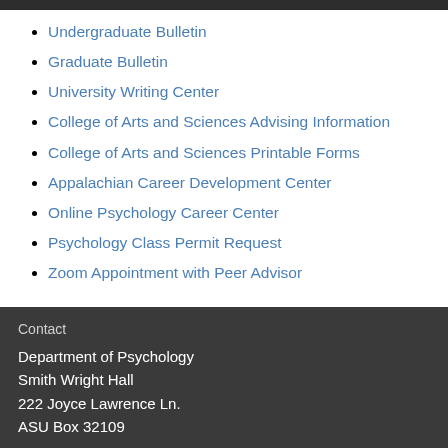Undergraduate Bulletin
Graduate Bulletin
University Writing Center
College of Arts and Sciences Advising Information
College of Arts and Sciences Printable Forms
Appalachian Career Development Center
Online Psychology Career Center
Psychology Class Permit Request
Zoom Appointment with Peer Advisor
Contact

Department of Psychology
Smith Wright Hall
222 Joyce Lawrence Ln.
ASU Box 32109